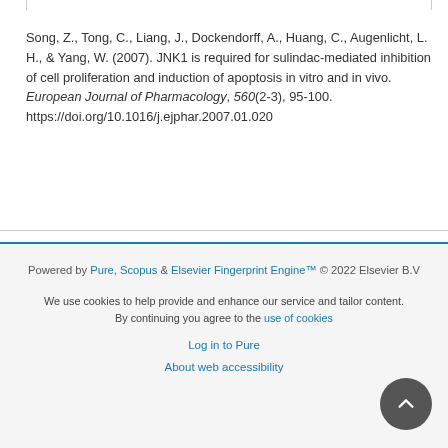Song, Z., Tong, C., Liang, J., Dockendorff, A., Huang, C., Augenlicht, L. H., & Yang, W. (2007). JNK1 is required for sulindac-mediated inhibition of cell proliferation and induction of apoptosis in vitro and in vivo. European Journal of Pharmacology, 560(2-3), 95-100. https://doi.org/10.1016/j.ejphar.2007.01.020
Powered by Pure, Scopus & Elsevier Fingerprint Engine™ © 2022 Elsevier B.V
We use cookies to help provide and enhance our service and tailor content. By continuing you agree to the use of cookies
Log in to Pure
About web accessibility